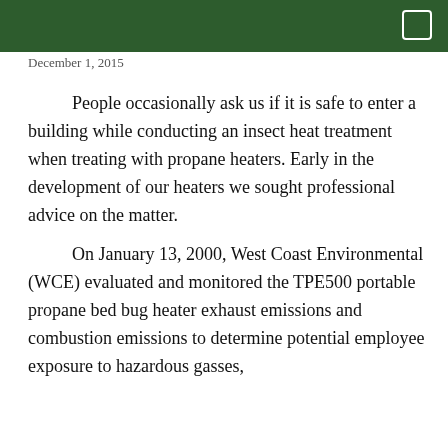December 1, 2015
People occasionally ask us if it is safe to enter a building while conducting an insect heat treatment when treating with propane heaters. Early in the development of our heaters we sought professional advice on the matter.
On January 13, 2000, West Coast Environmental (WCE) evaluated and monitored the TPE500 portable propane bed bug heater exhaust emissions and combustion emissions to determine potential employee exposure to hazardous gasses,